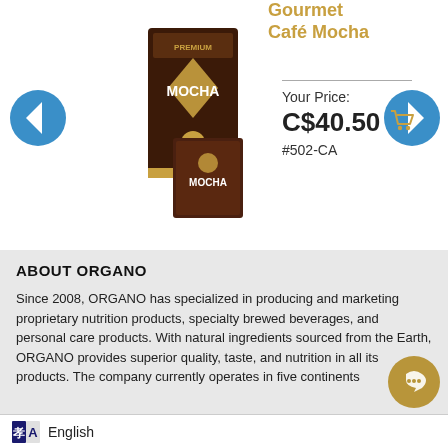Gourmet Café Mocha
[Figure (photo): Product image of Organo Gold Premium Mocha coffee box with individual sachet packet in front, brown and gold packaging]
Your Price:
C$40.50
#502-CA
ABOUT ORGANO
Since 2008, ORGANO has specialized in producing and marketing proprietary nutrition products, specialty brewed beverages, and personal care products. With natural ingredients sourced from the Earth, ORGANO provides superior quality, taste, and nutrition in all its products. The company currently operates in five continents
English